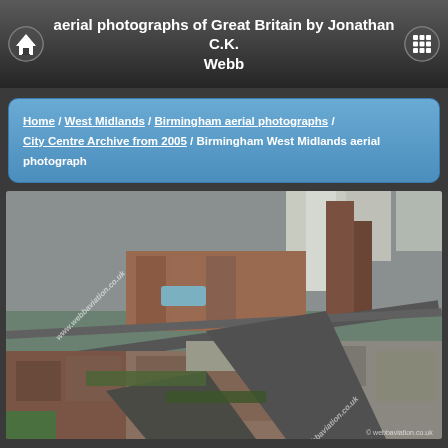aerial photographs of Great Britain by Jonathan C.K. Webb
Home / West Midlands / Birmingham aerial photographs / City Centre Archive from 2005 / Birmingham West Midlands aerial photograph
[Figure (photo): Aerial photograph of Birmingham West Midlands city centre, showing dense urban buildings, residential blocks, roads, and green spaces from above. Watermark: www.webbaviation.co.uk]